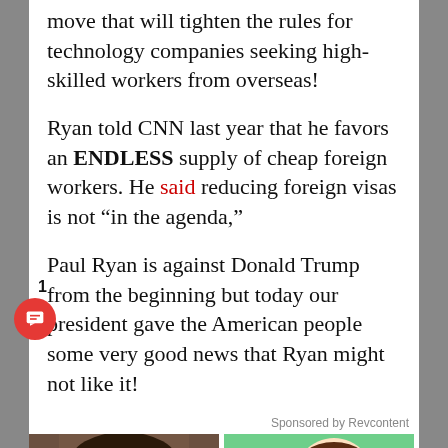move that will tighten the rules for technology companies seeking high-skilled workers from overseas!
Ryan told CNN last year that he favors an ENDLESS supply of cheap foreign workers. He said reducing foreign visas is not “in the agenda,”
Paul Ryan is against Donald Trump from the beginning but today our president gave the American people some very good news that Ryan might not like it!
Sponsored by Revcontent
[Figure (photo): Woman applying something to her nose with a brush or tool]
[Figure (illustration): Cartoon character wincing in pain with lightning bolt symbols]